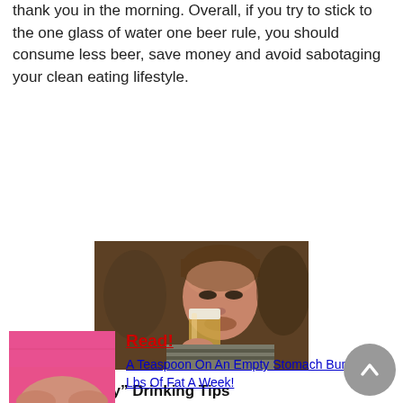thank you in the morning. Overall, if you try to stick to the one glass of water one beer rule, you should consume less beer, save money and avoid sabotaging your clean eating lifestyle.
[Figure (photo): A man drinking a glass of beer]
Other “Healthy” Drinking Tips
[Figure (photo): A person pinching belly fat wearing a pink shirt]
Read! A Teaspoon On An Empty Stomach Burns 12 Lbs Of Fat A Week!